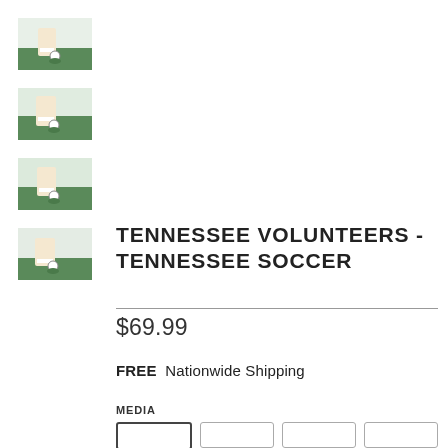[Figure (photo): Thumbnail image 1 of Tennessee Soccer product - soccer player feet with ball on grass]
[Figure (photo): Thumbnail image 2 of Tennessee Soccer product - soccer player feet with ball on grass]
[Figure (photo): Thumbnail image 3 of Tennessee Soccer product - soccer player feet with ball on grass]
[Figure (photo): Thumbnail image 4 of Tennessee Soccer product - soccer player feet with ball on grass]
TENNESSEE VOLUNTEERS - TENNESSEE SOCCER
$69.99
FREE  Nationwide Shipping
MEDIA